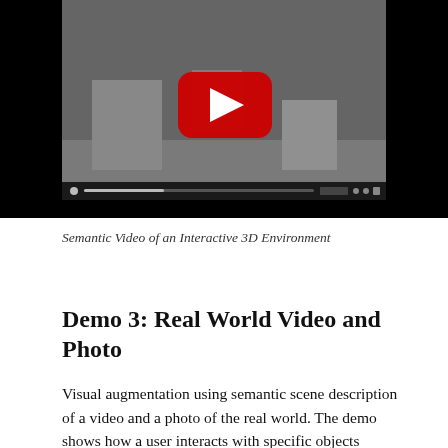[Figure (screenshot): YouTube video player showing a 3D environment with gray geometric shapes/boxes on a gray floor. A red YouTube play button is visible in the center. Below the video frame is a dark progress/control bar.]
Semantic Video of an Interactive 3D Environment
Demo 3: Real World Video and Photo
Visual augmentation using semantic scene description of a video and a photo of the real world. The demo shows how a user interacts with specific objects “inside” the video. The video shows two coffee mugs on a wide plate